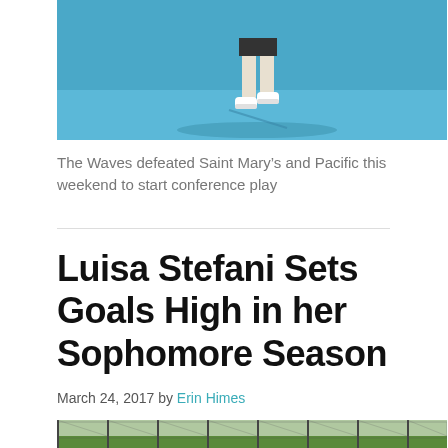[Figure (photo): Tennis player on blue court, showing lower legs and shoes, partial top image cropped]
The Waves defeated Saint Mary's and Pacific this weekend to start conference play
Luisa Stefani Sets Goals High in her Sophomore Season
March 24, 2017 by Erin Himes
[Figure (photo): Outdoor tennis court behind a chain-link fence, green surroundings, partial bottom image]